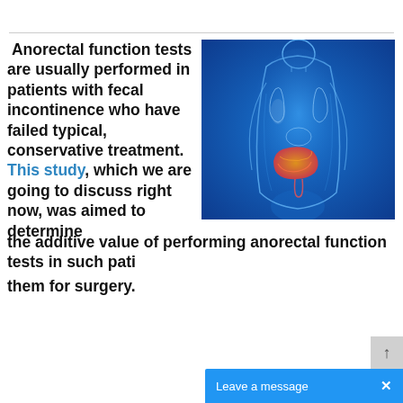Anorectal function tests are usually performed in patients with fecal incontinence who have failed typical, conservative treatment. This study, which we are going to discuss right now, was aimed to determine the additive value of performing anorectal function tests in such patients, selecting them for surgery.
[Figure (illustration): Medical illustration of a human body shown in blue X-ray/transparent style with the digestive system visible, highlighting the colon and rectum area in orange/red.]